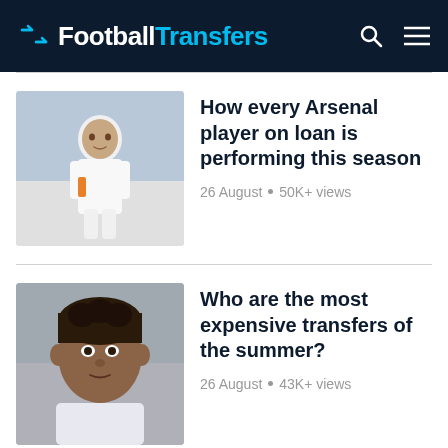FootballTransfers
[Figure (photo): Arsenal player in white kit applauding fans]
How every Arsenal player on loan is performing this season
26 August • 50K+ views
[Figure (photo): Young football player portrait, dark background]
Who are the most expensive transfers of the summer?
26 August • 43K+ views